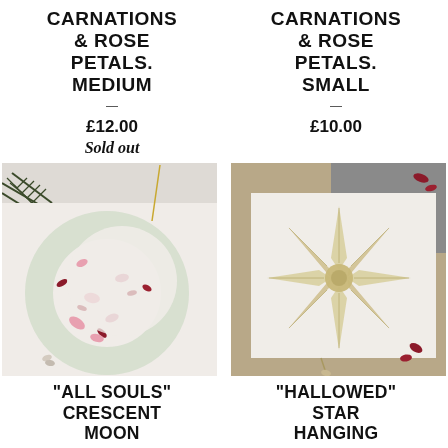CARNATIONS & ROSE PETALS. MEDIUM
£12.00
Sold out
CARNATIONS & ROSE PETALS. SMALL
£10.00
[Figure (photo): A crescent moon shaped resin ornament with dried pink carnations and rose petals embedded inside, hanging by a gold string, surrounded by dried flowers on a white background.]
[Figure (photo): A star-shaped resin hanging ornament with dried flowers embedded inside, placed on a white surface with dried flowers and dark/grey background visible.]
"ALL SOULS" CRESCENT MOON
"HALLOWED" STAR HANGING